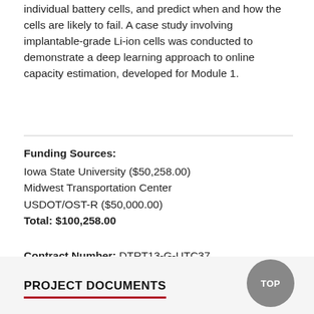individual battery cells, and predict when and how the cells are likely to fail. A case study involving implantable-grade Li-ion cells was conducted to demonstrate a deep learning approach to online capacity estimation, developed for Module 1.
Funding Sources:
Iowa State University ($50,258.00)
Midwest Transportation Center
USDOT/OST-R ($50,000.00)
Total: $100,258.00
Contract Number: DTRT13-G-UTC37
PROJECT DOCUMENTS